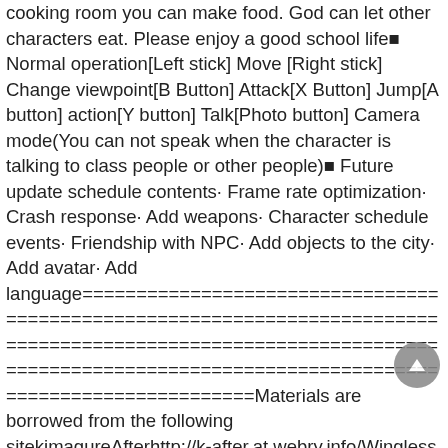cooking room you can make food. God can let other characters eat. Please enjoy a good school life■ Normal operation[Left stick] Move [Right stick] Change viewpoint[B Button] Attack[X Button] Jump[A button] action[Y button] Talk[Photo button] Camera mode(You can not speak when the character is talking to class people or other people)■ Future update schedule contents· Frame rate optimization· Crash response· Add weapons· Character schedule events· Friendship with NPC· Add objects to the city· Add avatar· Add language================================================================================================================================================================================Materials are borrowed from the following sitekimagureAfterhttp://k-after.at.webry.info/Wingless  Seraphhttp://wingless-seraph.net/================================================================================
Drift Simulator: i8 Hybrid Sports Mod Drift Simulator: i8 Hybrid Sports v1.0 mod Features:Modify a large number of currencies.Welcome to Drift Simulator: BMW i8 Hybrid Sports!Start your Drifting experi